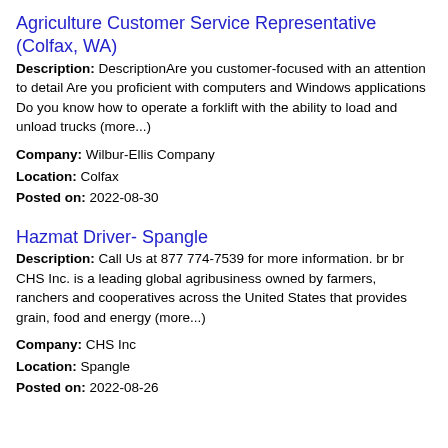Agriculture Customer Service Representative (Colfax, WA)
Description: DescriptionAre you customer-focused with an attention to detail Are you proficient with computers and Windows applications Do you know how to operate a forklift with the ability to load and unload trucks (more...)
Company: Wilbur-Ellis Company
Location: Colfax
Posted on: 2022-08-30
Hazmat Driver- Spangle
Description: Call Us at 877 774-7539 for more information. br br CHS Inc. is a leading global agribusiness owned by farmers, ranchers and cooperatives across the United States that provides grain, food and energy (more...)
Company: CHS Inc
Location: Spangle
Posted on: 2022-08-26